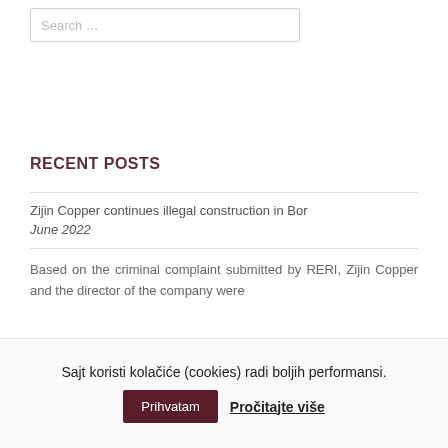Search …
RECENT POSTS
Zijin Copper continues illegal construction in Bor
June 2022
Based on the criminal complaint submitted by RERI, Zijin Copper and the director of the company were
Sajt koristi kolačiće (cookies) radi boljih performansi.
Prihvatam  Pročitajte više